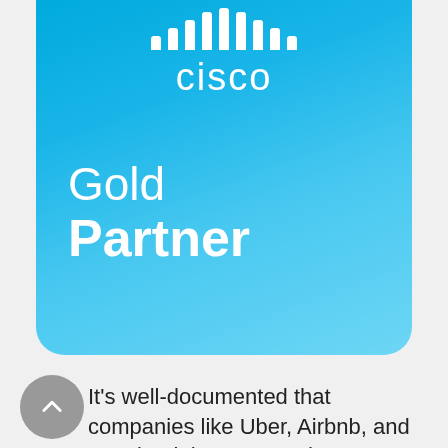[Figure (logo): Cisco Gold Partner badge — blue gradient rounded rectangle with Cisco logo (vertical bars and 'cisco' wordmark in white) and 'Gold Partner' text in white]
It's well-documented that companies like Uber, Airbnb, and Facebook have reaped